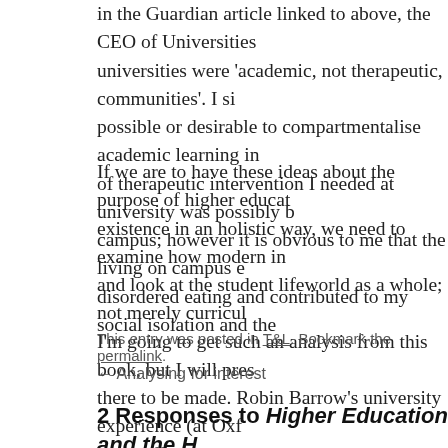in the Guardian article linked to above, the CEO of Universities universities were 'academic, not therapeutic, communities'. I si possible or desirable to compartmentalise academic learning in of therapeutic intervention I needed at university was possibly b campus; however it is obvious to me that the living on campus e disordered eating and contributed to my social isolation and the
If we are to have these ideas about the purpose of higher educat existence in an holistic way, we need to examine how modern in and look at the student lifeworld as a whole; not merely curricul I'm going to get such an analysis from this book, but I will pres there to be made. Robin Barrow's university experience (at Oxf very different to mine. He probably had an awesome time. I'm s fed at least.
This entry was posted in T&L. Bookmark the permalink.
← Analysing for interest
2 Responses to Higher Education and the H